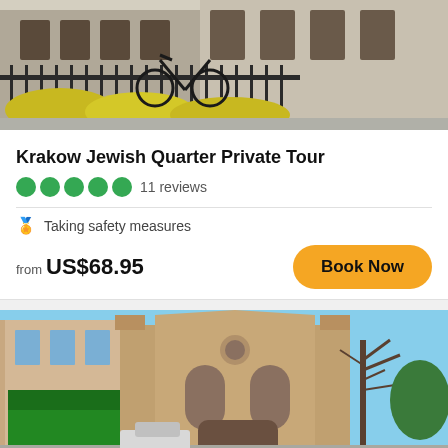[Figure (photo): Street view with a bicycle leaning against iron fence, building facade with yellow flowering shrubs in the foreground, Krakow Jewish Quarter area]
Krakow Jewish Quarter Private Tour
5 green circles rating dots — 11 reviews
Taking safety measures
from US$68.95
Book Now
[Figure (photo): Street view of ornate synagogue building (Tempel Synagogue) in Krakow Jewish Quarter with blue sky, street-side shops on the left, bare trees on the right]